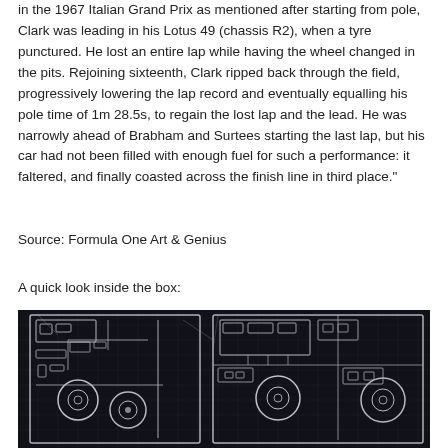in the 1967 Italian Grand Prix as mentioned after starting from pole, Clark was leading in his Lotus 49 (chassis R2), when a tyre punctured. He lost an entire lap while having the wheel changed in the pits. Rejoining sixteenth, Clark ripped back through the field, progressively lowering the lap record and eventually equalling his pole time of 1m 28.5s, to regain the lost lap and the lead. He was narrowly ahead of Brabham and Surtees starting the last lap, but his car had not been filled with enough fuel for such a performance: it faltered, and finally coasted across the finish line in third place."
Source: Formula One Art & Genius
A quick look inside the box:
[Figure (photo): A photo of plastic model kit sprues laid out on a dark grid surface, showing various car parts in silver/grey plastic frames.]